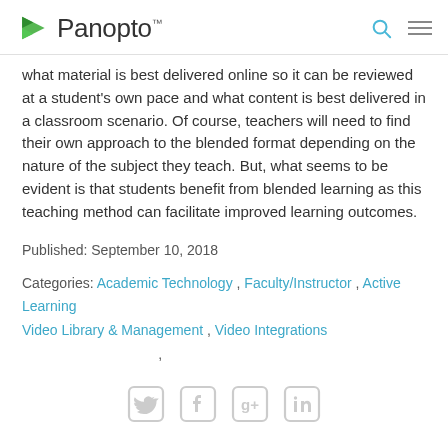Panopto
what material is best delivered online so it can be reviewed at a student's own pace and what content is best delivered in a classroom scenario. Of course, teachers will need to find their own approach to the blended format depending on the nature of the subject they teach. But, what seems to be evident is that students benefit from blended learning as this teaching method can facilitate improved learning outcomes.
Published: September 10, 2018
Categories: Academic Technology , Faculty/Instructor , Active Learning Video Library & Management , Video Integrations ,
[Figure (other): Social media icons: Twitter, Facebook, Google+, LinkedIn]